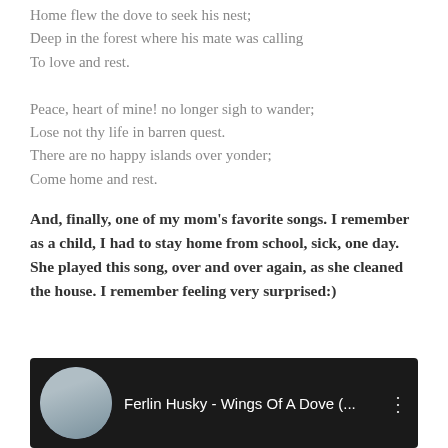Home flew the dove to seek his nest;
Deep in the forest where his mate was calling
To love and rest.
Peace, heart of mine! no longer sigh to wander;
Lose not thy life in barren quest.
There are no happy islands over yonder;
Come home and rest.
And, finally, one of my mom's favorite songs. I remember as a child, I had to stay home from school, sick, one day. She played this song, over and over again, as she cleaned the house. I remember feeling very surprised:)
[Figure (screenshot): YouTube video thumbnail showing Ferlin Husky - Wings Of A Dove (... with a circular avatar of an older man and three-dot menu icon on dark background]